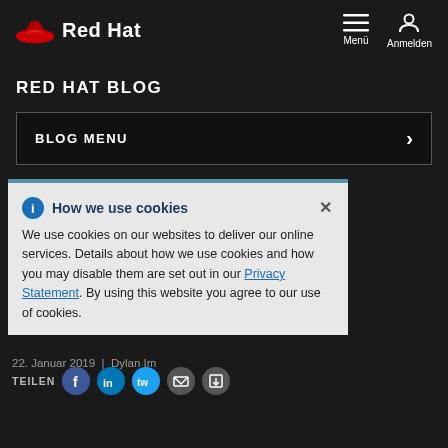Red Hat — Menü / Anmelden navigation header
RED HAT BLOG
BLOG MENU
ManageIQ and the Open Hybrid Cloud
How we use cookies — We use cookies on our websites to deliver our online services. Details about how we use cookies and how you may disable them are set out in our Privacy Statement. By using this website you agree to our use of cookies.
22. Januar 2019 | TEILEN